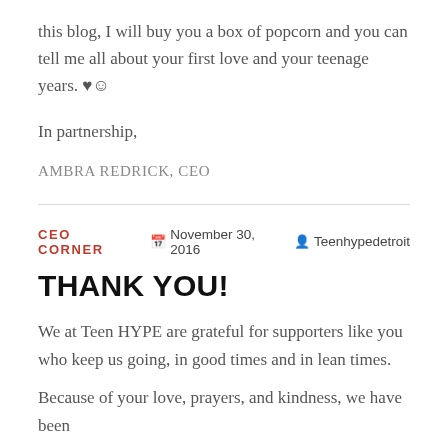this blog, I will buy you a box of popcorn and you can tell me all about your first love and your teenage years. ♥☺
In partnership,
AMBRA REDRICK, CEO
CEO CORNER  November 30, 2016  Teenhypedetroit
THANK YOU!
We at Teen HYPE are grateful for supporters like you who keep us going, in good times and in lean times.
Because of your love, prayers, and kindness, we have been